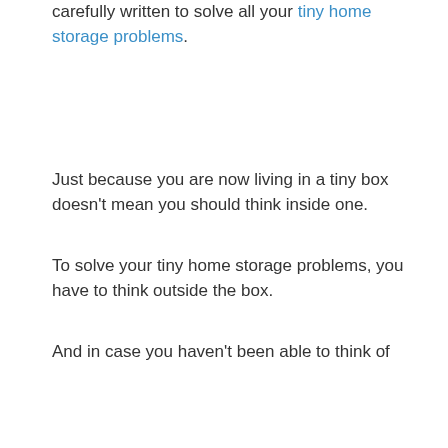carefully written to solve all your tiny home storage problems.
Just because you are now living in a tiny box doesn't mean you should think inside one.
To solve your tiny home storage problems, you have to think outside the box.
And in case you haven't been able to think of